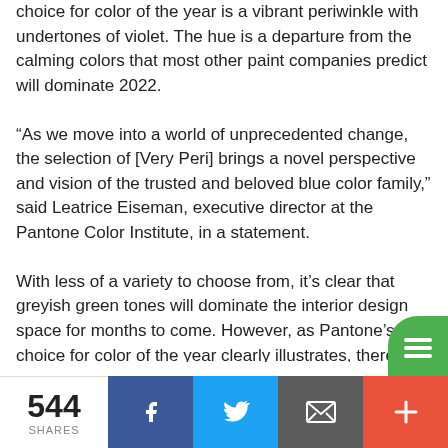choice for color of the year is a vibrant periwinkle with undertones of violet. The hue is a departure from the calming colors that most other paint companies predict will dominate 2022.
“As we move into a world of unprecedented change, the selection of [Very Peri] brings a novel perspective and vision of the trusted and beloved blue color family,” said Leatrice Eiseman, executive director at the Pantone Color Institute, in a statement.
With less of a variety to choose from, it’s clear that greyish green tones will dominate the interior design space for months to come. However, as Pantone’s choice for color of the year clearly illustrates, there is
544 SHARES